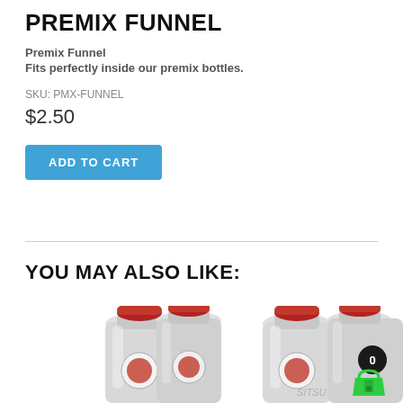PREMIX FUNNEL
Premix Funnel
Fits perfectly inside our premix bottles.
SKU: PMX-FUNNEL
$2.50
ADD TO CART
YOU MAY ALSO LIKE:
[Figure (photo): Product photo showing multiple silver/grey premix bottles with red caps and a brand logo, partially cropped at the bottom of the page. A green shopping basket icon with a black badge showing '0' is overlaid in the bottom right corner.]